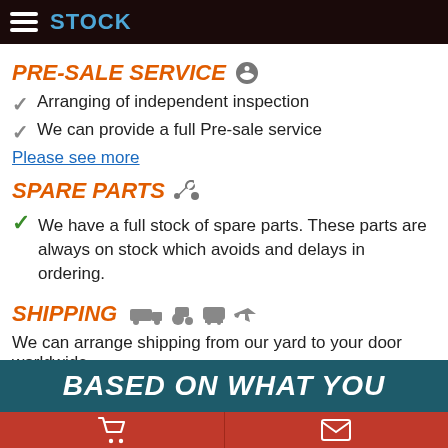STOCK
PRE-SALE SERVICE
Arranging of independent inspection
We can provide a full Pre-sale service
Please see more
SPARE PARTS
We have a full stock of spare parts. These parts are always on stock which avoids and delays in ordering.
SHIPPING
We can arrange shipping from our yard to your door worldwide.
We can offer sea.
We deliver to over 150 countries  Please see more
BASED ON WHAT YOU